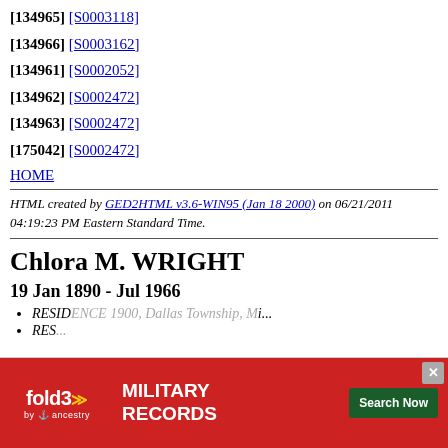[134965] [S0003118]
[134966] [S0003162]
[134961] [S0002052]
[134962] [S0002472]
[134963] [S0002472]
[175042] [S0002472]
HOME
HTML created by GED2HTML v3.6-WIN95 (Jan 18 2000) on 06/21/2011 04:19:23 PM Eastern Standard Time.
Chlora M. WRIGHT
19 Jan 1890 - Jul 1966
RESIDENCE 1900, Dallas Township, Mi...
RES...
[Figure (other): fold3 Military Records advertisement overlay]